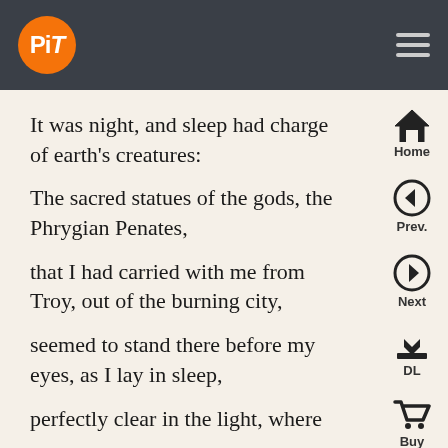PiT logo and navigation bar
It was night, and sleep had charge of earth's creatures:
The sacred statues of the gods, the Phrygian Penates,
that I had carried with me from Troy, out of the burning city,
seemed to stand there before my eyes, as I lay in sleep,
perfectly clear in the light, where the full moon streamed through the window casements: then they spoke